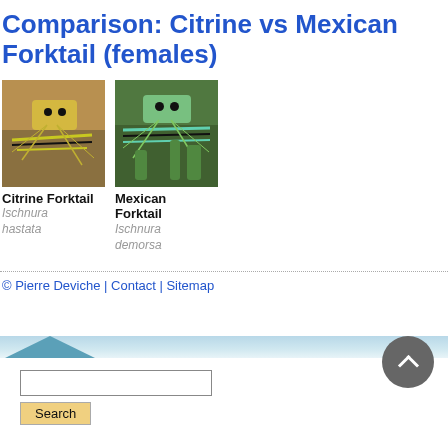Comparison: Citrine vs Mexican Forktail (females)
[Figure (photo): Close-up photo of a Citrine Forktail damselfly female]
Citrine Forktail
Ischnura hastata
[Figure (photo): Close-up photo of a Mexican Forktail damselfly female]
Mexican Forktail
Ischnura demorsa
© Pierre Deviche | Contact | Sitemap